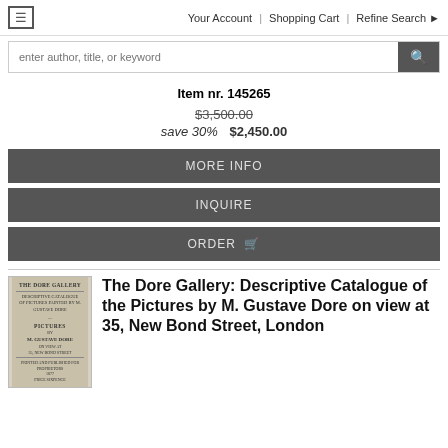Your Account | Shopping Cart | Refine Search
enter author, title, or keyword
Item nr. 145265
$3,500.00  save 30%  $2,450.00
MORE INFO
INQUIRE
ORDER
[Figure (photo): Thumbnail image of book cover: The Dore Gallery, Descriptive Catalogue of Pictures by M. Gustave Dore]
The Dore Gallery: Descriptive Catalogue of the Pictures by M. Gustave Dore on view at 35, New Bond Street, London